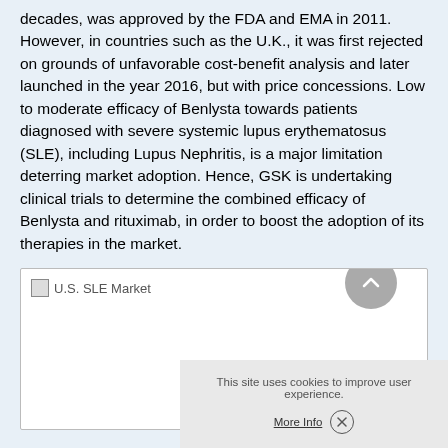decades, was approved by the FDA and EMA in 2011. However, in countries such as the U.K., it was first rejected on grounds of unfavorable cost-benefit analysis and later launched in the year 2016, but with price concessions. Low to moderate efficacy of Benlysta towards patients diagnosed with severe systemic lupus erythematosus (SLE), including Lupus Nephritis, is a major limitation deterring market adoption. Hence, GSK is undertaking clinical trials to determine the combined efficacy of Benlysta and rituximab, in order to boost the adoption of its therapies in the market.
[Figure (other): U.S. SLE Market image placeholder with broken image icon and label text]
This site uses cookies to improve user experience.
More Info